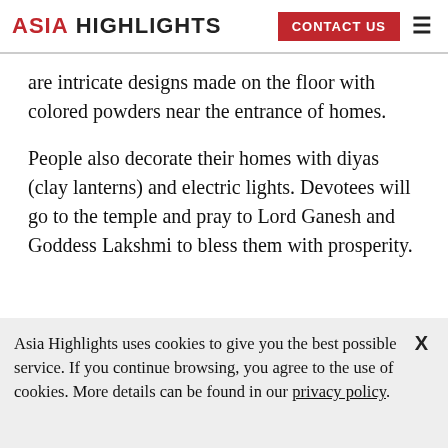ASIA HIGHLIGHTS | CONTACT US
are intricate designs made on the floor with colored powders near the entrance of homes.
People also decorate their homes with diyas (clay lanterns) and electric lights. Devotees will go to the temple and pray to Lord Ganesh and Goddess Lakshmi to bless them with prosperity.
Asia Highlights uses cookies to give you the best possible service. If you continue browsing, you agree to the use of cookies. More details can be found in our privacy policy.